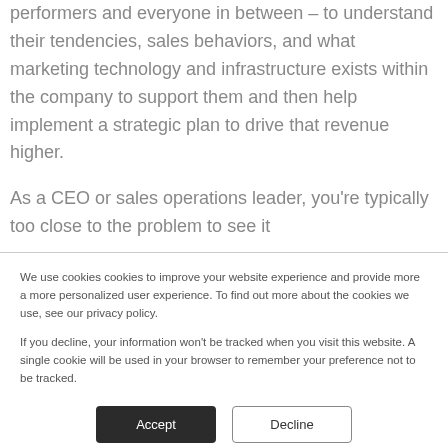performers and everyone in between – to understand their tendencies, sales behaviors, and what marketing technology and infrastructure exists within the company to support them and then help implement a strategic plan to drive that revenue higher.
As a CEO or sales operations leader, you're typically too close to the problem to see it
We use cookies cookies to improve your website experience and provide more a more personalized user experience. To find out more about the cookies we use, see our privacy policy.
If you decline, your information won't be tracked when you visit this website. A single cookie will be used in your browser to remember your preference not to be tracked.